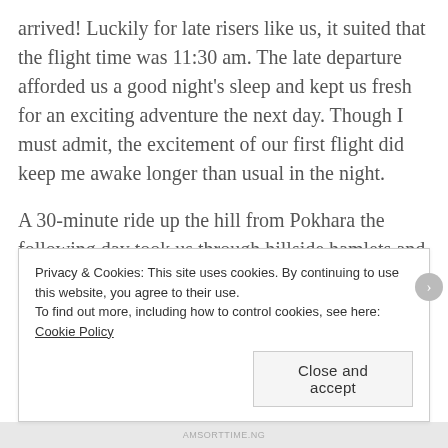arrived! Luckily for late risers like us, it suited that the flight time was 11:30 am. The late departure afforded us a good night's sleep and kept us fresh for an exciting adventure the next day. Though I must admit, the excitement of our first flight did keep me awake longer than usual in the night.
A 30-minute ride up the hill from Pokhara the following day took us through hillside hamlets and narrow mountain roads to Sarangkot. That's the take-off location for the tandem flights.
Located about 2000ft above the Phewa Lake in
Privacy & Cookies: This site uses cookies. By continuing to use this website, you agree to their use.
To find out more, including how to control cookies, see here: Cookie Policy
Close and accept